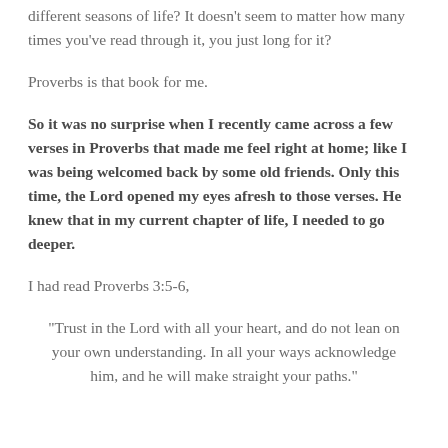different seasons of life?  It doesn't seem to matter how many times you've read through it, you just long for it?
Proverbs is that book for me.
So it was no surprise when I recently came across a few verses in Proverbs that made me feel right at home; like I was being welcomed back by some old friends.  Only this time, the Lord opened my eyes afresh to those verses.  He knew that in my current chapter of life, I needed to go deeper.
I had read Proverbs 3:5-6,
“Trust in the Lord with all your heart, and do not lean on your own understanding.  In all your ways acknowledge him, and he will make straight your paths.”